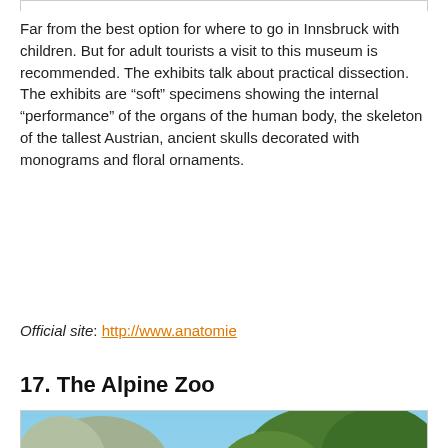Far from the best option for where to go in Innsbruck with children. But for adult tourists a visit to this museum is recommended. The exhibits talk about practical dissection. The exhibits are “soft” specimens showing the internal “performance” of the organs of the human body, the skeleton of the tallest Austrian, ancient skulls decorated with monograms and floral ornaments.
Official site: http://www.anatomie
17. The Alpine Zoo
[Figure (photo): Exterior photo of The Alpine Zoo building, a white stucco structure with a brown wooden dormer roof featuring multiple windows. Trees visible in background against blue sky.]